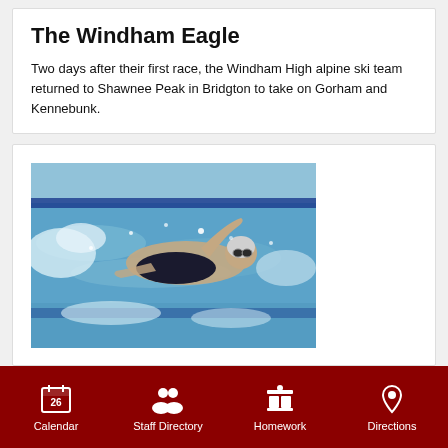The Windham Eagle
Two days after their first race, the Windham High alpine ski team returned to Shawnee Peak in Bridgton to take on Gorham and Kennebunk.
[Figure (photo): A swimmer doing freestyle stroke in a pool with lane dividers, wearing goggles and a swim cap]
Calendar   Staff Directory   Homework   Directions